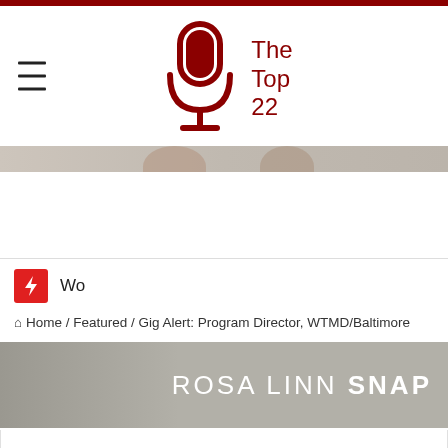[Figure (logo): The Top 22 logo: red microphone icon with text 'The Top 22' in dark red]
[Figure (photo): Thin banner strip with two partial face photos on tan/beige background]
[Figure (infographic): Small red square with white lightning bolt icon, followed by text 'Wo']
Home / Featured / Gig Alert: Program Director, WTMD/Baltimore
[Figure (photo): Rosa Linn SNAP promotional banner with woman's face on gray background and text 'ROSA LINN SNAP']
GIG ALERT: PROGRAM DIRECTOR